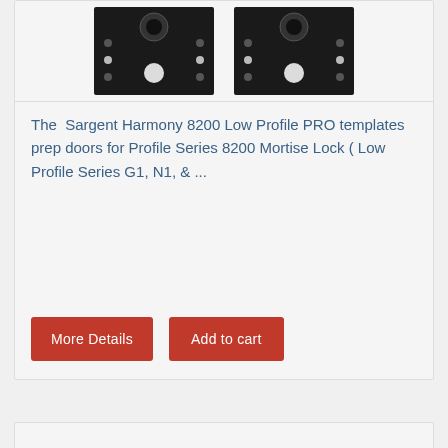[Figure (photo): Two black metal door prep templates (Sargent Harmony 8200 Low Profile PRO) shown side by side against a white background, each featuring circular holes and mounting points.]
The  Sargent Harmony 8200 Low Profile PRO templates prep doors for Profile Series 8200 Mortise Lock ( Low Profile Series G1, N1, & ...
More Details
Add to cart